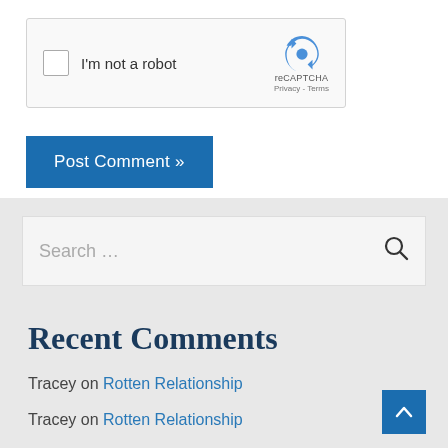[Figure (screenshot): reCAPTCHA widget with checkbox labeled 'I'm not a robot' and reCAPTCHA logo with Privacy and Terms links]
Post Comment »
Search …
Recent Comments
Tracey on Rotten Relationship
Tracey on Rotten Relationship
Debbie Richards on Learn how to love your singleness